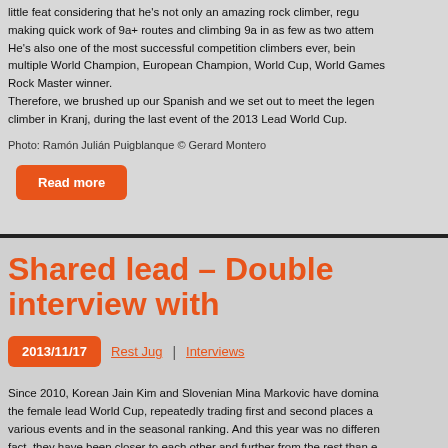little feat considering that he's not only an amazing rock climber, regularly making quick work of 9a+ routes and climbing 9a in as few as two attempts. He's also one of the most successful competition climbers ever, being a multiple World Champion, European Champion, World Cup, World Games and Rock Master winner. Therefore, we brushed up our Spanish and we set out to meet the legendary climber in Kranj, during the last event of the 2013 Lead World Cup.
Photo: Ramón Julián Puigblanque © Gerard Montero
Read more
Shared lead – Double interview with
2013/11/17   Rest Jug  |  Interviews
Since 2010, Korean Jain Kim and Slovenian Mina Markovic have dominated the female lead World Cup, repeatedly trading first and second places at various events and in the seasonal ranking. And this year was no different, in fact, they have been closer to each other and further from the rest than ever. Because of this, we wanted to find out what makes them similar and what doesn't, so we decided to get them together after the Kranj semifinal and to